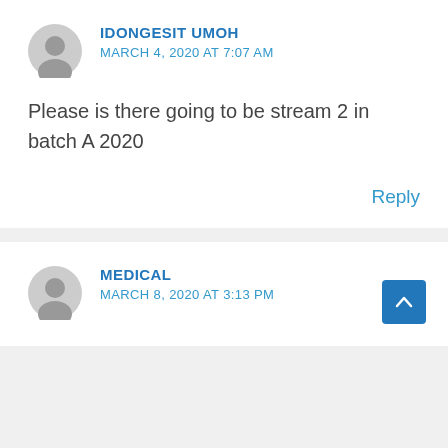IDONGESIT UMOH
MARCH 4, 2020 AT 7:07 AM
Please is there going to be stream 2 in batch A 2020
Reply
MEDICAL
MARCH 8, 2020 AT 3:13 PM